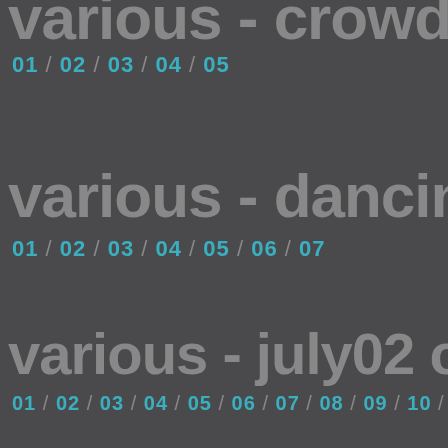various - crowd
01 / 02 / 03 / 04 / 05
various - dancing
01 / 02 / 03 / 04 / 05 / 06 / 07
various - july02 c3p
01 / 02 / 03 / 04 / 05 / 06 / 07 / 08 / 09 / 10 /
various - july02 c3p
01 / 02 / 03